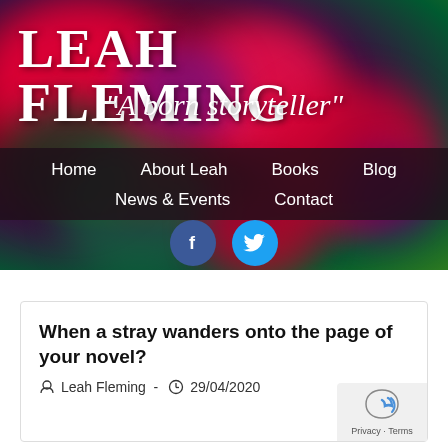[Figure (screenshot): Leah Fleming author website header banner with blurry red and purple floral background, showing the site title 'LEAH FLEMING' and tagline '"A born storyteller"', navigation bar with Home, About Leah, Books, Blog, News & Events, Contact links, and Facebook and Twitter social icons below]
When a stray wanders onto the page of your novel?
Leah Fleming  -  29/04/2020